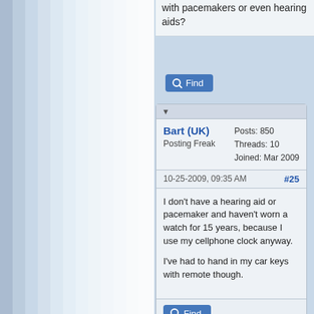with pacemakers or even hearing aids?
Find
Bart (UK)
Posting Freak
Posts: 850
Threads: 10
Joined: Mar 2009
10-25-2009, 09:35 AM
#25
I don't have a hearing aid or pacemaker and haven't worn a watch for 15 years, because I use my cellphone clock anyway.

I've had to hand in my car keys with remote though.
Find
Egan Ford
Posts: 1,619
Threads: 147